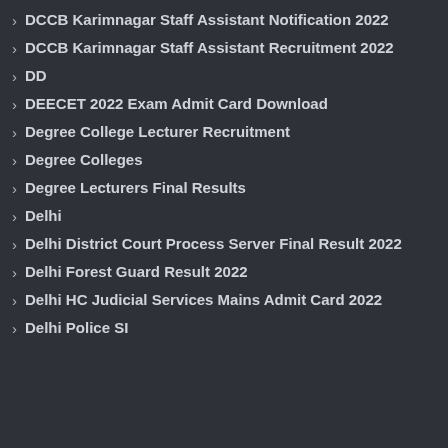DCCB Karimnagar Staff Assistant Notification 2022
DCCB Karimnagar Staff Assistant Recruitment 2022
DD
DEECET 2022 Exam Admit Card Download
Degree College Lecturer Recruitment
Degree Colleges
Degree Lecturers Final Results
Delhi
Delhi District Court Process Server Final Result 2022
Delhi Forest Guard Result 2022
Delhi HC Judicial Services Mains Admit Card 2022
Delhi Police SI